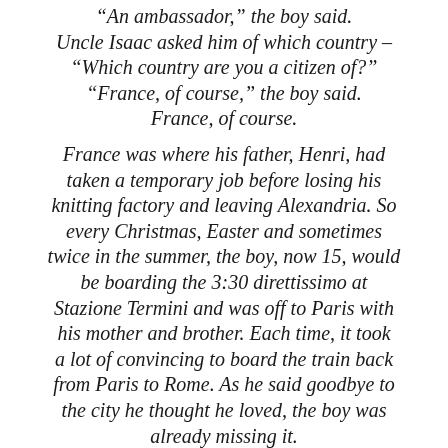“An ambassador,” the boy said. Uncle Isaac asked him of which country – “Which country are you a citizen of?” “France, of course,” the boy said. France, of course.
France was where his father, Henri, had taken a temporary job before losing his knitting factory and leaving Alexandria. So every Christmas, Easter and sometimes twice in the summer, the boy, now 15, would be boarding the 3:30 direttissimo at Stazione Termini and was off to Paris with his mother and brother. Each time, it took a lot of convincing to board the train back from Paris to Rome. As he said goodbye to the city he thought he loved, the boy was already missing it.
Aunt Flora knew it. Years later, long after the boy became a man, he would recall his asking her to play the Shubert again while